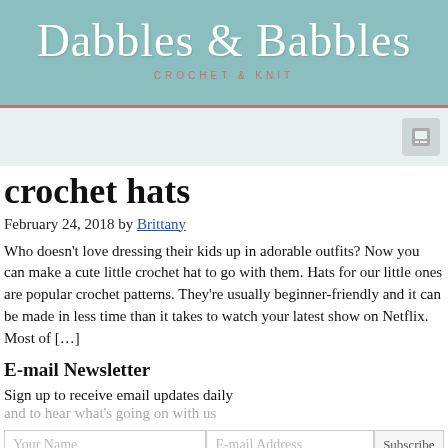Dabbles & Babbles - CROCHET & KNIT
crochet hats
February 24, 2018 by Brittany
Who doesn't love dressing their kids up in adorable outfits? Now you can make a cute little crochet hat to go with them. Hats for our little ones are popular crochet patterns. They're usually beginner-friendly and it can be made in less time than it takes to watch your latest show on Netflix. Most of […]
E-mail Newsletter
Sign up to receive email updates daily
and to hear what's going on with us